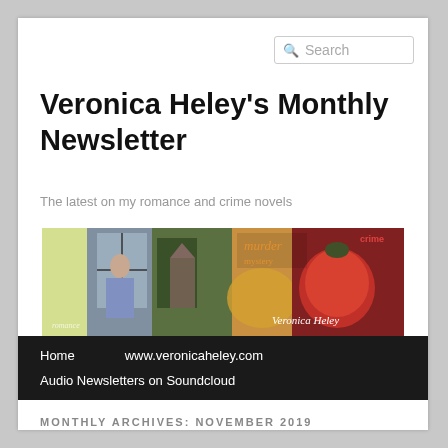Search
Veronica Heley's Monthly Newsletter
The latest on my romance and crime novels
[Figure (illustration): Banner image showing romance and crime book covers with a woman at a window on the left and red/green imagery on the right, with 'Veronica Heley' text overlay]
Home
www.veronicaheley.com
Audio Newsletters on Soundcloud
MONTHLY ARCHIVES: NOVEMBER 2019